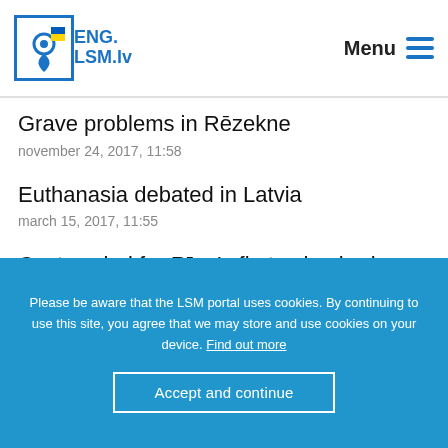ENG. LSM.lv  Menu
Grave problems in Rēzekne
november 24, 2017, 11:58
Euthanasia debated in Latvia
march 15, 2017, 11:55
Costs spiral for Rīga's first columbarium
february 16, 2017, 13:37
Please be aware that the LSM portal uses cookies. By continuing to use this site, you agree that we may store and use cookies on your device. Find out more
Accept and continue